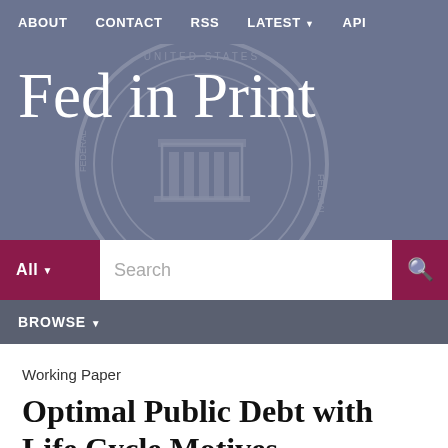ABOUT   CONTACT   RSS   LATEST   API
Fed in Print
All  Search
BROWSE
Working Paper
Optimal Public Debt with Life Cycle Motives
Abstract: Public debt can be optimal in standard